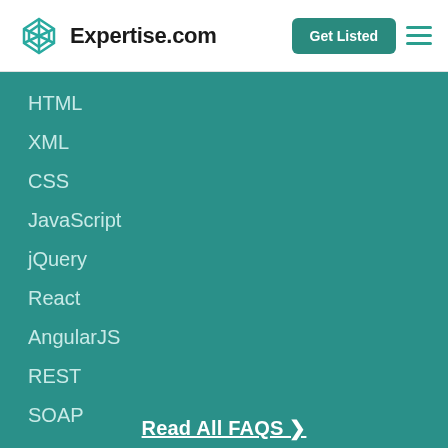Expertise.com
HTML
XML
CSS
JavaScript
jQuery
React
AngularJS
REST
SOAP
Read All FAQS ❯
For Providers